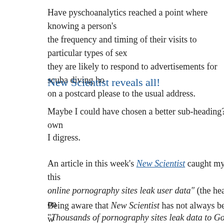Have pyschoanalytics reached a point where knowing a person's the frequency and timing of their visits to particular types of sex they are likely to respond to advertisements for scuba diving ho on a postcard please to the usual address.
New Scientist reveals all!
Maybe I could have chosen a better sub-heading? Being my ow
I digress.
An article in this week's New Scientist caught my eye with this online pornography sites leak user data" (the headine in the on "Thousands of pornography sites leak data to Google and Face word if trackers are in place. I mean Facebook and Google are n
Being aware that New Scientist has not always been a reliable w the internet I went to the original source, a research article pub